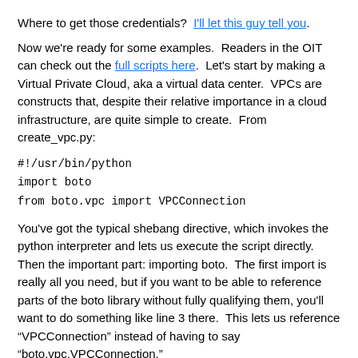Where to get those credentials?  I'll let this guy tell you.
Now we're ready for some examples.  Readers in the OIT can check out the full scripts here.  Let's start by making a Virtual Private Cloud, aka a virtual data center.  VPCs are constructs that, despite their relative importance in a cloud infrastructure, are quite simple to create.  From create_vpc.py:
You've got the typical shebang directive, which invokes the python interpreter and lets us execute the script directly.  Then the important part: importing boto.  The first import is really all you need, but if you want to be able to reference parts of the boto library without fully qualifying them, you'll want to do something like line 3 there.  This lets us reference "VPCConnection" instead of having to say "boto.vpc.VPCConnection."
The parameters for creating a VPC are…
name: friendly name for the VPC (we'll use VPC_ND_Datacenter.  This is actually optional, but we're going to tag the VPC with a "Name" key after we make it)